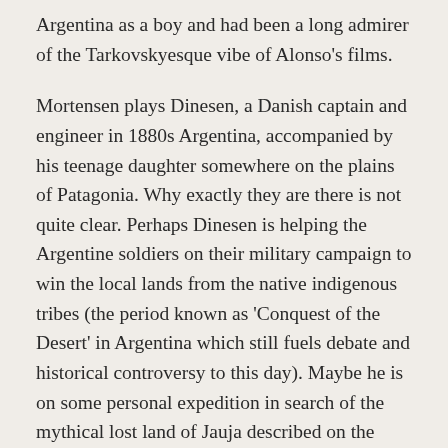Argentina as a boy and had been a long admirer of the Tarkovskyesque vibe of Alonso’s films.
Mortensen plays Dinesen, a Danish captain and engineer in 1880s Argentina, accompanied by his teenage daughter somewhere on the plains of Patagonia. Why exactly they are there is not quite clear. Perhaps Dinesen is helping the Argentine soldiers on their military campaign to win the local lands from the native indigenous tribes (the period known as ‘Conquest of the Desert’ in Argentina which still fuels debate and historical controversy to this day). Maybe he is on some personal expedition in search of the mythical lost land of Jauja described on the opening titles card, or he could just be a homesick Dane a long way from home. Or all of the above. In any case, what is abundantly clear is that his daughter is gathering plenty of attention from the lonely soldiers, much to Dinesen’s ire, and eventually she and a handsome convict from the